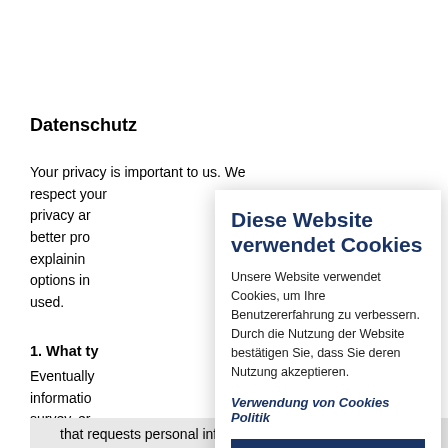Datenschutz
Your privacy is important to us. We respect your privacy an better pro explainin options in used.
1. What ty Eventually informatio survey, er engage in You decid
that requests personal information.
Diese Website verwendet Cookies
Unsere Website verwendet Cookies, um Ihre Benutzererfahrung zu verbessern. Durch die Nutzung der Website bestätigen Sie, dass Sie deren Nutzung akzeptieren.
Verwendung von Cookies Politik
SCHLIESSEN